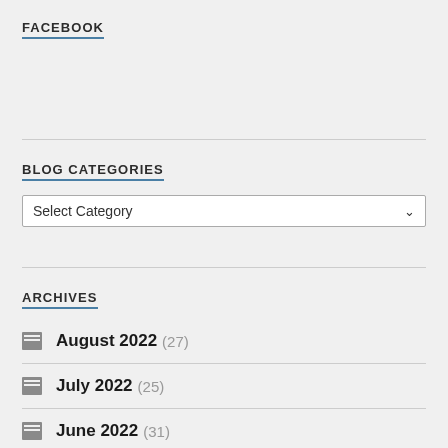FACEBOOK
BLOG CATEGORIES
Select Category
ARCHIVES
August 2022 (27)
July 2022 (25)
June 2022 (31)